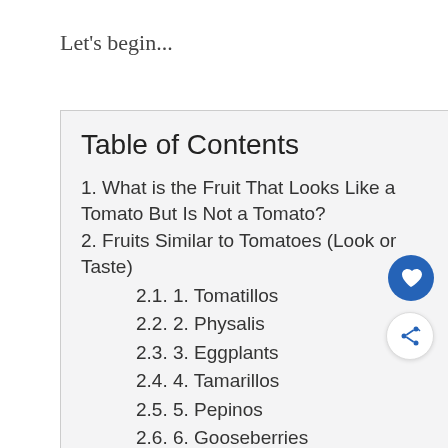Let's begin...
Table of Contents
1. What is the Fruit That Looks Like a Tomato But Is Not a Tomato?
2. Fruits Similar to Tomatoes (Look or Taste)
2.1. 1. Tomatillos
2.2. 2. Physalis
2.3. 3. Eggplants
2.4. 4. Tamarillos
2.5. 5. Pepinos
2.6. 6. Gooseberries
2.7. 7. Persimmons
2.8. 8. Sharon Fruits